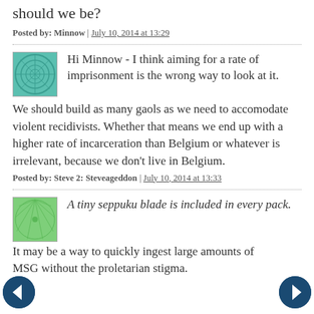should we be?
Posted by: Minnow | July 10, 2014 at 13:29
Hi Minnow - I think aiming for a rate of imprisonment is the wrong way to look at it.
We should build as many gaols as we need to accomodate violent recidivists. Whether that means we end up with a higher rate of incarceration than Belgium or whatever is irrelevant, because we don't live in Belgium.
Posted by: Steve 2: Steveageddon | July 10, 2014 at 13:33
A tiny seppuku blade is included in every pack.
It may be a way to quickly ingest large amounts of MSG without the proletarian stigma.